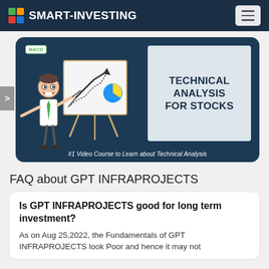SMART-INVESTING
[Figure (illustration): Banner showing a cartoon character pointing at a chart board with MACD label, alongside text 'TECHNICAL ANALYSIS FOR STOCKS' and caption '#1 Video Course to Learn about Technical Analysis']
FAQ about GPT INFRAPROJECTS
Is GPT INFRAPROJECTS good for long term investment?
As on Aug 25,2022, the Fundamentals of GPT INFRAPROJECTS look Poor and hence it may not